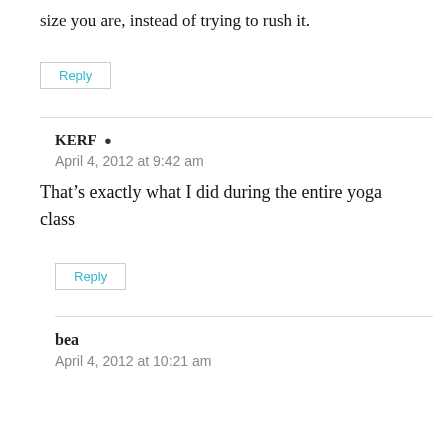size you are, instead of trying to rush it.
Reply
KERF
April 4, 2012 at 9:42 am
That’s exactly what I did during the entire yoga class
Reply
bea
April 4, 2012 at 10:21 am